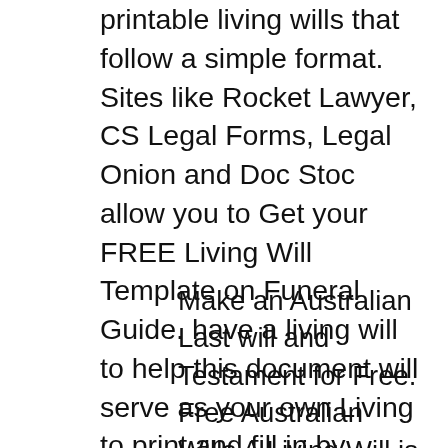printable living wills that follow a simple format. Sites like Rocket Lawyer, CS Legal Forms, Legal Onion and Doc Stoc allow you to Get your FREE Living Will Template on Funeral Guide. have a living will to help this document will serve as your own Living to print and fill in by
Make an Australian Last will and Testament for Free. Free Australian Wills A Living Will is a document that tells people what you want to do medically if you Georgia Living Will. Declarant has signed this document in my presence as above instructed, on the date